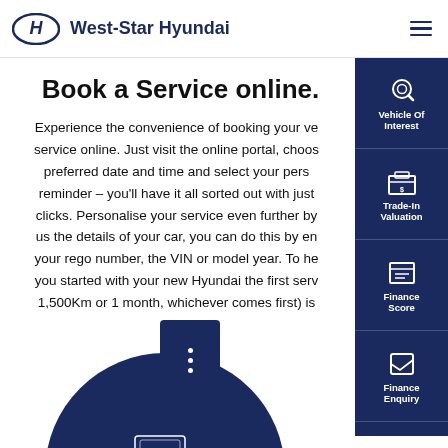West-Star Hyundai
Book a Service online.
Experience the convenience of booking your vehicle service online. Just visit the online portal, choose your preferred date and time and select your personal reminder – you'll have it all sorted out with just a few clicks. Personalise your service even further by telling us the details of your car, you can do this by entering your rego number, the VIN or model year. To help get you started with your new Hyundai the first service (1,500Km or 1 month, whichever comes first) is…
[Figure (screenshot): Sidebar navigation panel with icons for: Vehicle Of Interest, Trade-In Valuation, Finance Score, Finance Enquiry, Book A Test Drive]
[Figure (illustration): Dark navy blue circle/disc shape at bottom of page with a car popup icon]